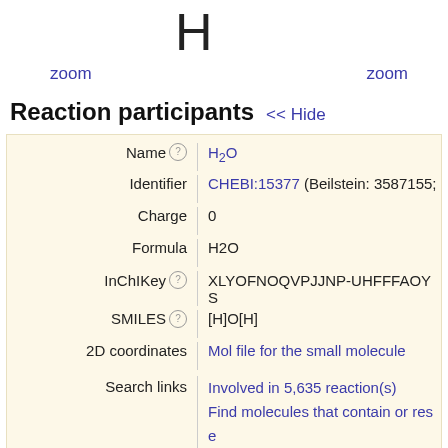H
zoom    zoom
Reaction participants  << Hide
| Field | Value |
| --- | --- |
| Name | H2O |
| Identifier | CHEBI:15377 (Beilstein: 3587155; |
| Charge | 0 |
| Formula | H2O |
| InChIKey | XLYOFNOQVPJJNP-UHFFFAOYS |
| SMILES | [H]O[H] |
| 2D coordinates | Mol file for the small molecule |
| Search links | Involved in 5,635 reaction(s)
Find molecules that contain or rese
Find proteins in UniProtKB for this |